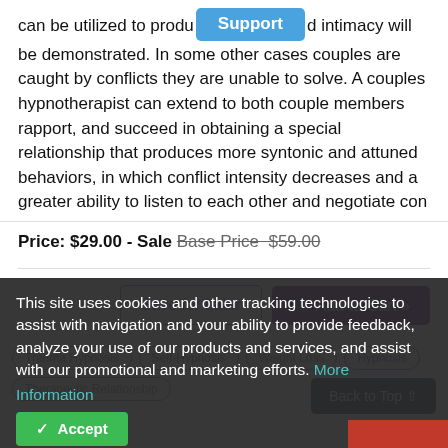can be utilized to produce [Support] intimacy will be demonstrated. In some other cases couples are caught by conflicts they are unable to solve. A couples hypnotherapist can extend to both couple members rapport, and succeed in obtaining a special relationship that produces more syntonic and attuned behaviors, in which conflict intensity decreases and a greater ability to listen to each other and negotiate con
Price: $29.00 - Sale Base Price $59.00
Save for Later | Add to Cart »
This site uses cookies and other tracking technologies to assist with navigation and your ability to provide feedback, analyze your use of our products and services, and assist with our promotional and marketing efforts. More Information
Accept